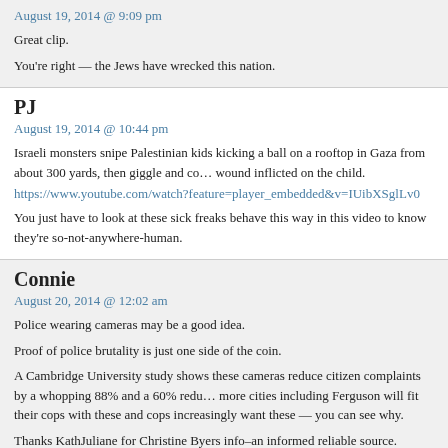August 19, 2014 @ 9:09 pm
Great clip.
You’re right — the Jews have wrecked this nation.
PJ
August 19, 2014 @ 10:44 pm
Israeli monsters snipe Palestinian kids kicking a ball on a rooftop in Gaza from about 300 yards, then giggle and co... wound inflicted on the child.
https://www.youtube.com/watch?feature=player_embedded&v=IUibXSglLv0
You just have to look at these sick freaks behave this way in this video to know they’re so-not-anywhere-human.
Connie
August 20, 2014 @ 12:02 am
Police wearing cameras may be a good idea.
Proof of police brutality is just one side of the coin.
A Cambridge University study shows these cameras reduce citizen complaints by a whopping 88% and a 60% redu... more cities including Ferguson will fit their cops with these and cops increasingly want these — you can see why.
Thanks KathJuliane for Christine Byers info–an informed reliable source.